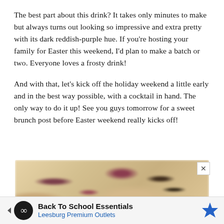The best part about this drink? It takes only minutes to make but always turns out looking so impressive and extra pretty with its dark reddish-purple hue. If you're hosting your family for Easter this weekend, I'd plan to make a batch or two. Everyone loves a frosty drink!
And with that, let's kick off the holiday weekend a little early and in the best way possible, with a cocktail in hand. The only way to do it up! See you guys tomorrow for a sweet brunch post before Easter weekend really kicks off!
[Figure (photo): Blurred close-up photo showing dark reddish-purple and olive green round shapes (likely berries or garnishes) against a warm beige/cream background, appearing to be ingredients for a cocktail.]
Back To School Essentials Leesburg Premium Outlets